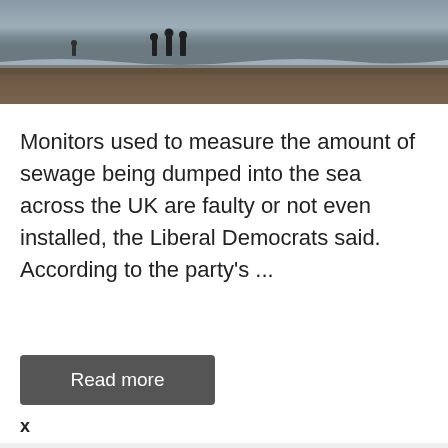[Figure (photo): Photo of people walking on a beach near the sea shoreline, dark and overcast, viewed from a distance]
Monitors used to measure the amount of sewage being dumped into the sea across the UK are faulty or not even installed, the Liberal Democrats said. According to the party's ...
Read more
x
[Figure (screenshot): Advertisement banner with folder icon, play/close controls, blue loading bar and blue button]